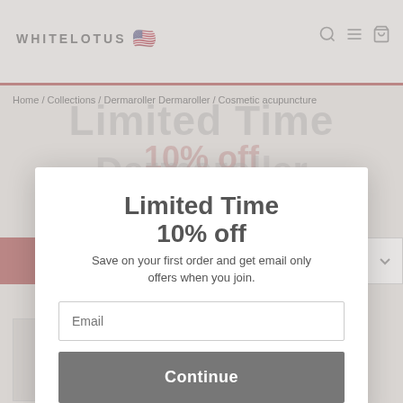WHITELOTUS
Home / Collections / Dermaroller Dermaroller / Cosmetic acupuncture
Limited Time 10% off
Dermaroller
Save on your first order and get email only offers when you join.
Email
Continue
Filter (1)
Featured
1 product
[Figure (screenshot): White Lotus product card thumbnail with logo and 'The White Lotus Holistic Microneedling Course' text]